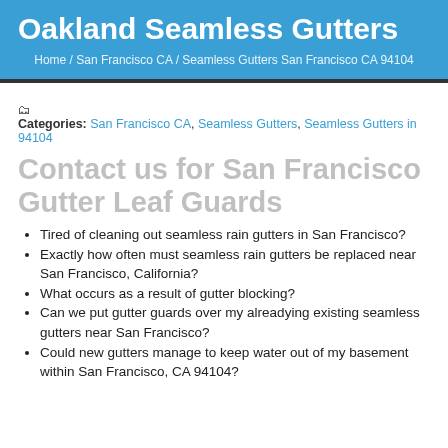Oakland Seamless Gutters
Home / San Francisco CA / Seamless Gutters San Francisco CA 94104
Categories: San Francisco CA, Seamless Gutters, Seamless Gutters in 94104
Contact us for San Francisco Gutter Leaf Guards
Tired of cleaning out seamless rain gutters in San Francisco?
Exactly how often must seamless rain gutters be replaced near San Francisco, California?
What occurs as a result of gutter blocking?
Can we put gutter guards over my alreadying existing seamless gutters near San Francisco?
Could new gutters manage to keep water out of my basement within San Francisco, CA 94104?